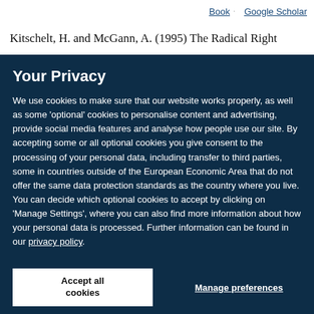Book · Google Scholar
Kitschelt, H. and McGann, A. (1995) The Radical Right
Your Privacy
We use cookies to make sure that our website works properly, as well as some 'optional' cookies to personalise content and advertising, provide social media features and analyse how people use our site. By accepting some or all optional cookies you give consent to the processing of your personal data, including transfer to third parties, some in countries outside of the European Economic Area that do not offer the same data protection standards as the country where you live. You can decide which optional cookies to accept by clicking on 'Manage Settings', where you can also find more information about how your personal data is processed. Further information can be found in our privacy policy.
Accept all cookies
Manage preferences